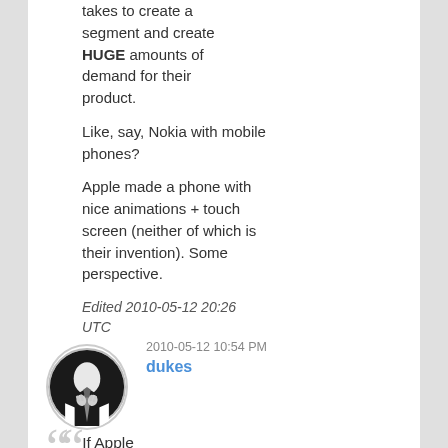takes to create a segment and create HUGE amounts of demand for their product.
Like, say, Nokia with mobile phones?
Apple made a phone with nice animations + touch screen (neither of which is their invention). Some perspective.
Edited 2010-05-12 20:26 UTC
[Figure (illustration): Circular avatar image of a person adjusting a tie, black and white illustration]
2010-05-12 10:54 PM
dukes
If Apple